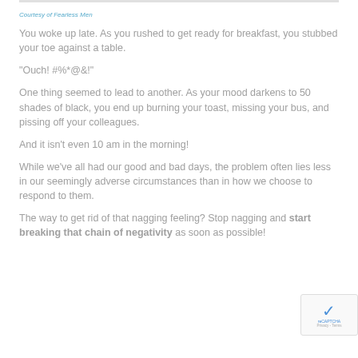Courtesy of Fearless Men
You woke up late. As you rushed to get ready for breakfast, you stubbed your toe against a table.
"Ouch! #%*@&!"
One thing seemed to lead to another. As your mood darkens to 50 shades of black, you end up burning your toast, missing your bus, and pissing off your colleagues.
And it isn't even 10 am in the morning!
While we've all had our good and bad days, the problem often lies less in our seemingly adverse circumstances than in how we choose to respond to them.
The way to get rid of that nagging feeling? Stop nagging and start breaking that chain of negativity as soon as possible!